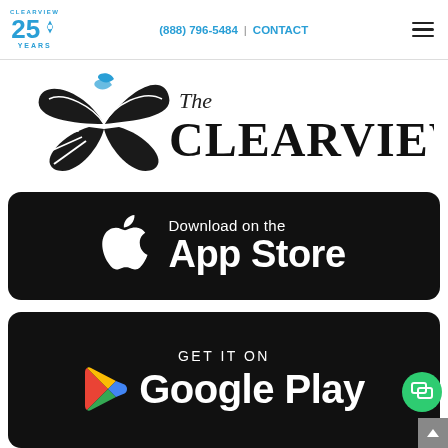CLEARVIEW | 25 YEARS | (888) 796-5484 | CONTACT
[Figure (logo): The Clearview logo with butterfly/leaf graphic and serif text reading 'The CLEARVIEW']
[Figure (screenshot): Apple App Store download button: 'Download on the App Store' with Apple logo on black rounded rectangle background]
[Figure (screenshot): Google Play download button: 'GET IT ON Google Play' with Google Play logo on black rounded rectangle background, partially visible]